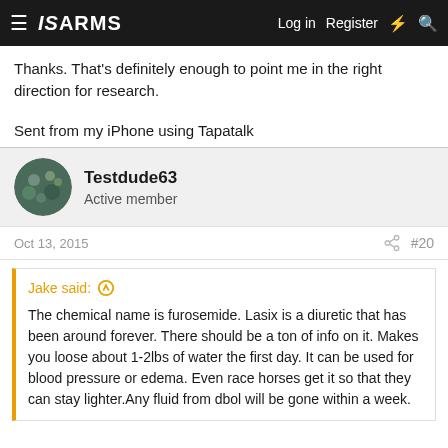ISARMS — Log in  Register
Thanks. That's definitely enough to point me in the right direction for research.
Sent from my iPhone using Tapatalk
Testdude63
Active member
Oct 13, 2015  #20
Jake said: ↑
The chemical name is furosemide. Lasix is a diuretic that has been around forever. There should be a ton of info on it. Makes you loose about 1-2lbs of water the first day. It can be used for blood pressure or edema. Even race horses get it so that they can stay lighter.Any fluid from dbol will be gone within a week.